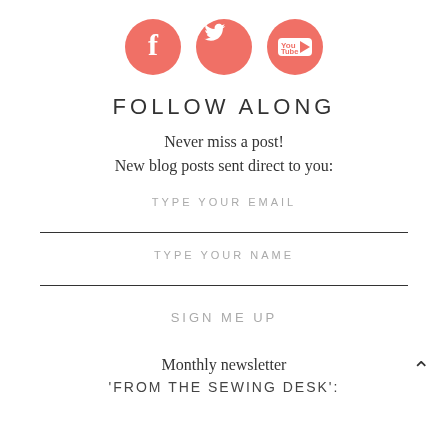[Figure (illustration): Three circular salmon/coral colored social media icons: Facebook (f), Twitter (bird), YouTube (You Tube logo), displayed in a row]
FOLLOW ALONG
Never miss a post!
New blog posts sent direct to you:
TYPE YOUR EMAIL
TYPE YOUR NAME
SIGN ME UP
Monthly newsletter
'FROM THE SEWING DESK':